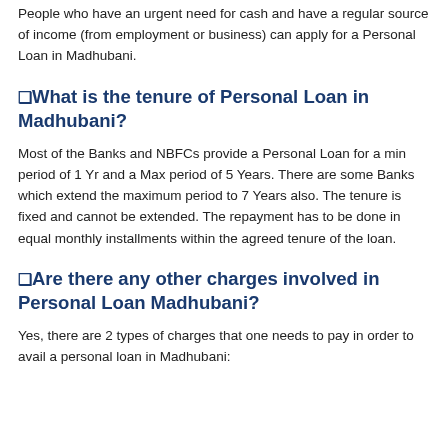People who have an urgent need for cash and have a regular source of income (from employment or business) can apply for a Personal Loan in Madhubani.
❑What is the tenure of Personal Loan in Madhubani?
Most of the Banks and NBFCs provide a Personal Loan for a min period of 1 Yr and a Max period of 5 Years. There are some Banks which extend the maximum period to 7 Years also. The tenure is fixed and cannot be extended. The repayment has to be done in equal monthly installments within the agreed tenure of the loan.
❑Are there any other charges involved in Personal Loan Madhubani?
Yes, there are 2 types of charges that one needs to pay in order to avail a personal loan in Madhubani: